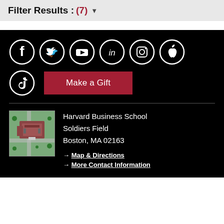Filter Results : (7) ▼
[Figure (screenshot): Harvard Business School website footer with social media icons (Facebook, Twitter, YouTube, LinkedIn, Instagram, Apple, TikTok), a Make a Gift button, campus aerial photo, and address information]
Harvard Business School
Soldiers Field
Boston, MA 02163
→ Map & Directions
→ More Contact Information